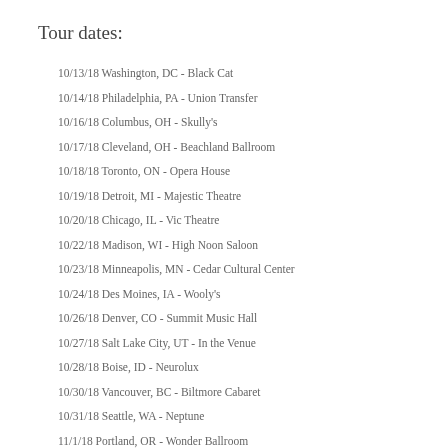Tour dates:
10/13/18 Washington, DC - Black Cat
10/14/18 Philadelphia, PA - Union Transfer
10/16/18 Columbus, OH - Skully's
10/17/18 Cleveland, OH - Beachland Ballroom
10/18/18 Toronto, ON - Opera House
10/19/18 Detroit, MI - Majestic Theatre
10/20/18 Chicago, IL - Vic Theatre
10/22/18 Madison, WI - High Noon Saloon
10/23/18 Minneapolis, MN - Cedar Cultural Center
10/24/18 Des Moines, IA - Wooly's
10/26/18 Denver, CO - Summit Music Hall
10/27/18 Salt Lake City, UT - In the Venue
10/28/18 Boise, ID - Neurolux
10/30/18 Vancouver, BC - Biltmore Cabaret
10/31/18 Seattle, WA - Neptune
11/1/18 Portland, OR - Wonder Ballroom
11/3/18 San Francisco, CA - Fillmore
01/19/18 Los Angeles, CA - Hollywood Palladium